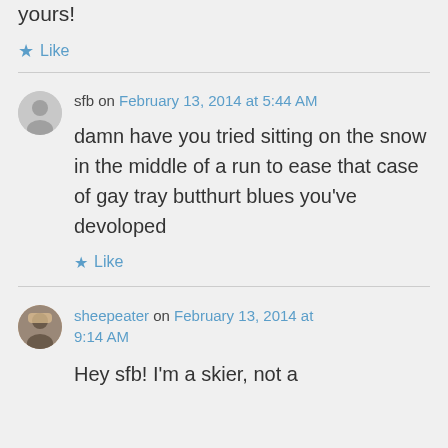yours!
★ Like
sfb on February 13, 2014 at 5:44 AM
damn have you tried sitting on the snow in the middle of a run to ease that case of gay tray butthurt blues you've devoloped
★ Like
sheepeater on February 13, 2014 at 9:14 AM
Hey sfb! I'm a skier, not a